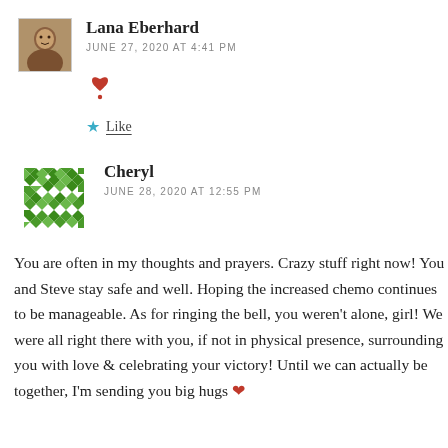Lana Eberhard
JUNE 27, 2020 AT 4:41 PM
[Figure (other): Red heart emoji symbol]
Like
Cheryl
JUNE 28, 2020 AT 12:55 PM
You are often in my thoughts and prayers. Crazy stuff right now! You and Steve stay safe and well. Hoping the increased chemo continues to be manageable. As for ringing the bell, you weren't alone, girl! We were all right there with you, if not in physical presence, surrounding you with love & celebrating your victory! Until we can actually be together, I'm sending you big hugs 🧡